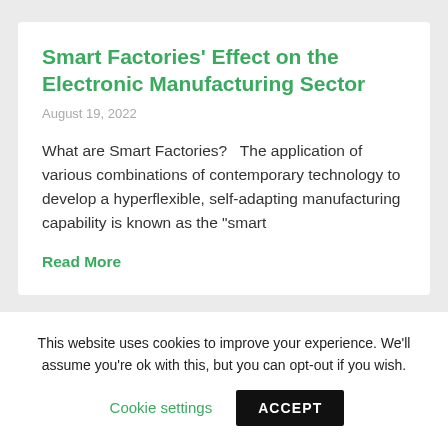Smart Factories' Effect on the Electronic Manufacturing Sector
August 19, 2022
What are Smart Factories?   The application of various combinations of contemporary technology to develop a hyperflexible, self-adapting manufacturing capability is known as the "smart
Read More
This website uses cookies to improve your experience. We'll assume you're ok with this, but you can opt-out if you wish.
Cookie settings
ACCEPT